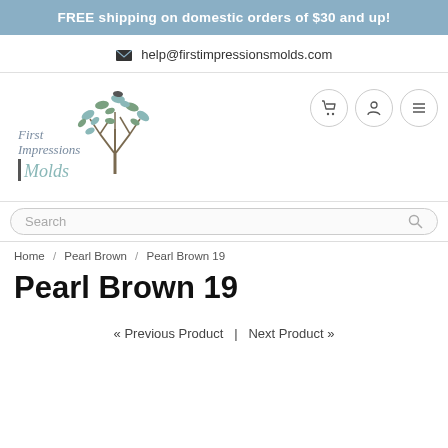FREE shipping on domestic orders of $30 and up!
help@firstimpressionsmolds.com
[Figure (logo): First Impressions Molds logo with a tree illustration and text 'First Impressions Molds']
Search
Home / Pearl Brown / Pearl Brown 19
Pearl Brown 19
« Previous Product  |  Next Product »